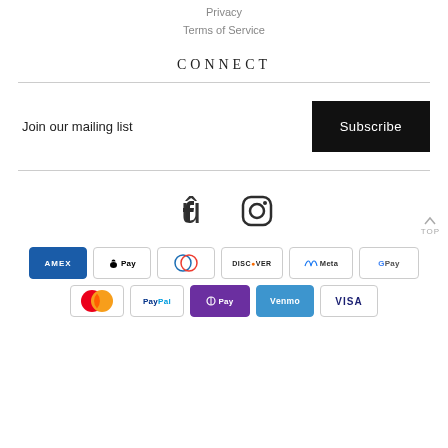Privacy
Terms of Service
CONNECT
Join our mailing list
Subscribe
[Figure (illustration): Facebook and Instagram social media icons]
[Figure (illustration): Payment method badges: Amex, Apple Pay, Diners Club, Discover, Meta Pay, Google Pay, Mastercard, PayPal, Shop Pay, Venmo, Visa]